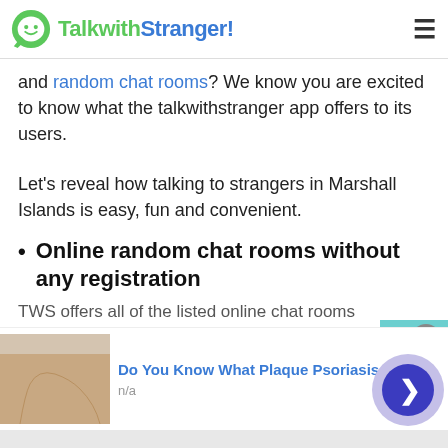TalkwithStranger!
and random chat rooms? We know you are excited to know what the talkwithstranger app offers to its users.
Let's reveal how talking to strangers in Marshall Islands is easy, fun and convenient.
Online random chat rooms without any registration
TWS offers all of the listed online chat rooms
[Figure (other): Advertisement banner: Do You Know What Plaque Psoriasis Is? n/a]
[Figure (other): Scroll to top button (teal chevron up) and navigation circle (blue arrow right)]